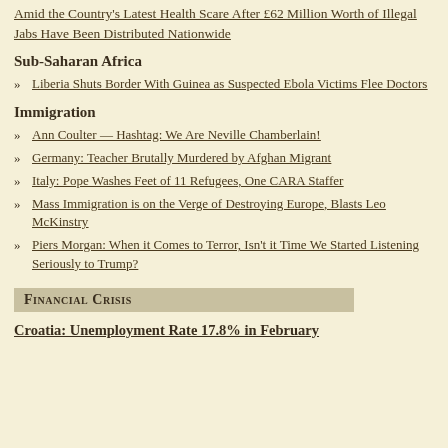Amid the Country's Latest Health Scare After £62 Million Worth of Illegal Jabs Have Been Distributed Nationwide
Sub-Saharan Africa
Liberia Shuts Border With Guinea as Suspected Ebola Victims Flee Doctors
Immigration
Ann Coulter — Hashtag: We Are Neville Chamberlain!
Germany: Teacher Brutally Murdered by Afghan Migrant
Italy: Pope Washes Feet of 11 Refugees, One CARA Staffer
Mass Immigration is on the Verge of Destroying Europe, Blasts Leo McKinstry
Piers Morgan: When it Comes to Terror, Isn't it Time We Started Listening Seriously to Trump?
Financial Crisis
Croatia: Unemployment Rate 17.8% in February